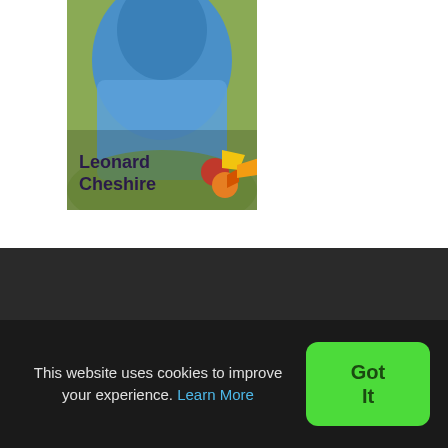[Figure (photo): Leonard Cheshire charity logo overlaid on a photo of a person wearing a blue outfit outdoors, with Leonard Cheshire branded logo featuring colorful flower-like shapes in orange, red, and yellow]
[Figure (logo): careappointments logo: red circle with 'ca' in white, followed by the text 'careappointments' in white on dark background]
This website uses cookies to improve your experience. Learn More
Got It